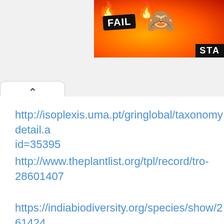[Figure (screenshot): Advertisement banner showing 'FAIL' badge with cartoon emoji face and flames, with 'STA' text on dark background, cropped at top right]
http://isoplexis.uma.pt/gringlobal/taxonomydetail.a id=35395
http://www.theplantlist.org/tpl/record/tro-28601407
https://indiabiodiversity.org/species/show/261424
https://www.monaconatureencyclopedia.com/pom